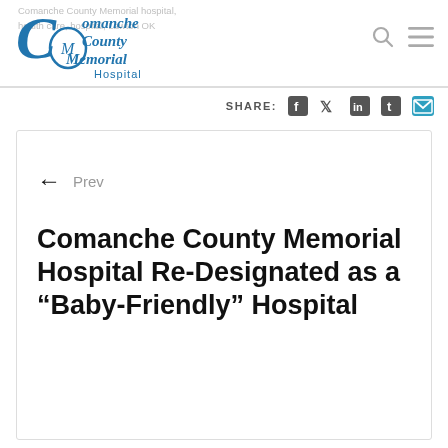Comanche County Memorial Hospital, health care, hospital, Lawton OK
[Figure (logo): Comanche County Memorial Hospital logo in blue script and serif text]
SHARE: (Facebook) (Twitter) (LinkedIn) (Tumblr) (Email)
← Prev
Comanche County Memorial Hospital Re-Designated as a “Baby-Friendly” Hospital